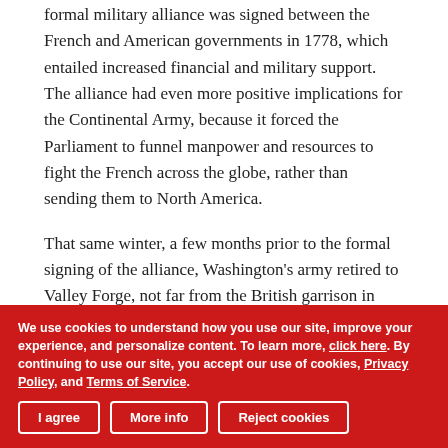formal military alliance was signed between the French and American governments in 1778, which entailed increased financial and military support. The alliance had even more positive implications for the Continental Army, because it forced the Parliament to funnel manpower and resources to fight the French across the globe, rather than sending them to North America.
That same winter, a few months prior to the formal signing of the alliance, Washington's army retired to Valley Forge, not far from the British garrison in Philadelphia. While arriving rather disheveled, disheartened, and largely undisciplined, the army underwent a rigorous training program under the direction of Baron von Steuben. He instilled in the soldiers a sense of pride, resilience, and discipline, which transformed
We use cookies to understand how you use our site, improve your experience, and personalize content. To learn more, click here. By continuing to use our site, you accept our use of cookies, Privacy Policy, and Terms of Service. [buttons: I agree | More info | Reject cookies]